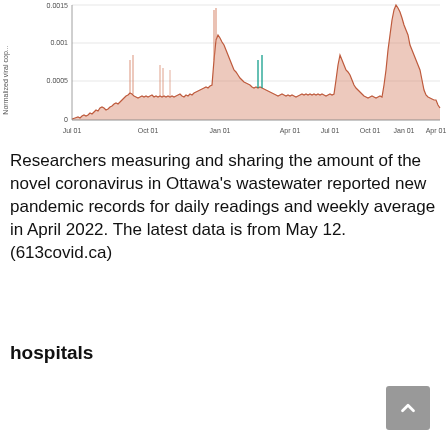[Figure (continuous-plot): Area/line chart showing normalized viral copies in Ottawa's wastewater over time. X-axis shows dates from Jul 01 through Apr 01 (spanning ~2 years). Y-axis labeled 'Normalized viral cop...' with values 0, 0.0005, 0.001, 0.0015. Shows multiple COVID-19 waves with peaks around Jan and Apr 2022 being the highest.]
Researchers measuring and sharing the amount of the novel coronavirus in Ottawa's wastewater reported new pandemic records for daily readings and weekly average in April 2022. The latest data is from May 12. (613covid.ca)
hospitals